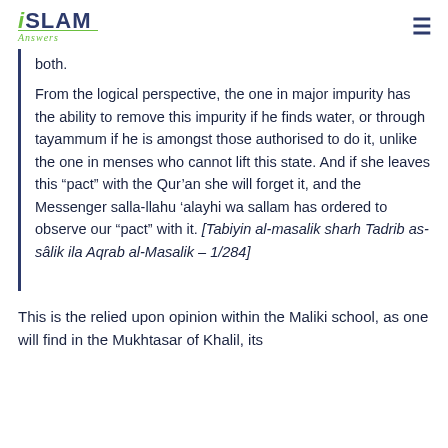iSLAM Answers
both.
From the logical perspective, the one in major impurity has the ability to remove this impurity if he finds water, or through tayammum if he is amongst those authorised to do it, unlike the one in menses who cannot lift this state. And if she leaves this “pact” with the Qur’an she will forget it, and the Messenger salla-llahu ‘alayhi wa sallam has ordered to observe our “pact” with it. [Tabiyin al-masalik sharh Tadrib as-sâlik ila Aqrab al-Masalik – 1/284]
This is the relied upon opinion within the Maliki school, as one will find in the Mukhtasar of Khalil, its commentaries and other relied upon texts, like